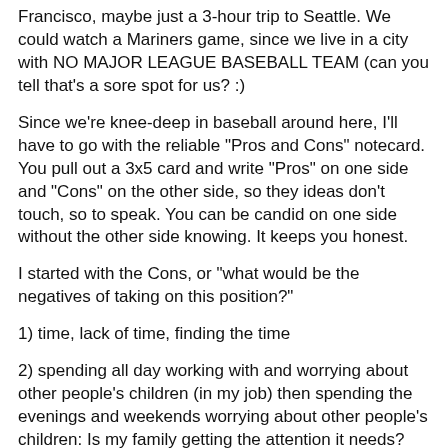Francisco, maybe just a 3-hour trip to Seattle. We could watch a Mariners game, since we live in a city with NO MAJOR LEAGUE BASEBALL TEAM (can you tell that's a sore spot for us? :)
Since we're knee-deep in baseball around here, I'll have to go with the reliable "Pros and Cons" notecard. You pull out a 3x5 card and write "Pros" on one side and "Cons" on the other side, so they ideas don't touch, so to speak. You can be candid on one side without the other side knowing. It keeps you honest.
I started with the Cons, or "what would be the negatives of taking on this position?"
1) time, lack of time, finding the time
2) spending all day working with and worrying about other people's children (in my job) then spending the evenings and weekends worrying about other people's children: Is my family getting the attention it needs?
3) dealing with a crazy coach or irate parent - and they're out there.
4) life was supposed to get SIMPLER as our son got older